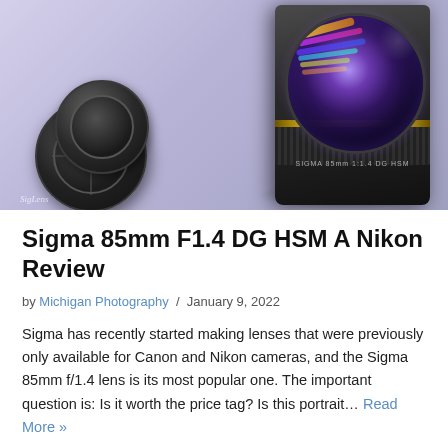[Figure (photo): Close-up photo of a Sigma 85mm f/1.4 camera lens with colorful light reflections in the lens elements, and two Nikon lens caps placed in front of it on a light purple/lavender background.]
Sigma 85mm F1.4 DG HSM A Nikon Review
by Michigan Photography / January 9, 2022
Sigma has recently started making lenses that were previously only available for Canon and Nikon cameras, and the Sigma 85mm f/1.4 lens is its most popular one. The important question is: Is it worth the price tag? Is this portrait… Read More »